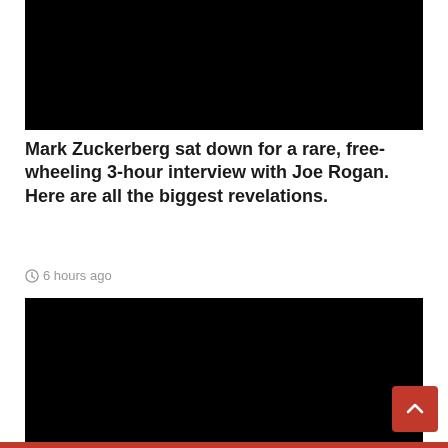[Figure (photo): Black rectangle representing a video thumbnail or image placeholder at the top of the page]
Mark Zuckerberg sat down for a rare, free-wheeling 3-hour interview with Joe Rogan. Here are all the biggest revelations.
6 hours ago
[Figure (photo): Black rectangle representing a second video thumbnail or image placeholder below the article title]